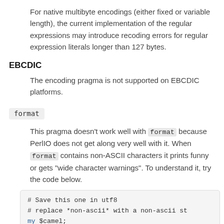For native multibyte encodings (either fixed or variable length), the current implementation of the regular expressions may introduce recoding errors for regular expression literals longer than 127 bytes.
EBCDIC
The encoding pragma is not supported on EBCDIC platforms.
format
This pragma doesn't work well with format because PerlIO does not get along very well with it. When format contains non-ASCII characters it prints funny or gets "wide character warnings". To understand it, try the code below.
# Save this one in utf8
# replace *non-ascii* with a non-ascii st
my $camel;